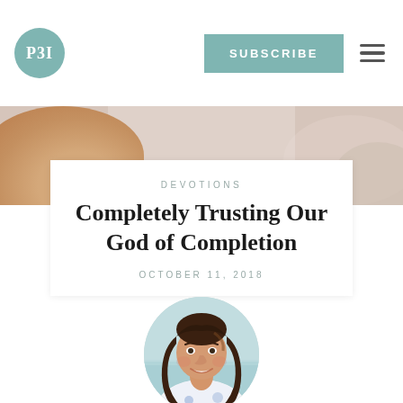[Figure (logo): P31 logo — teal/sage circle with white text 'P31']
SUBSCRIBE
[Figure (photo): Hero banner showing hands, warm neutral tones]
DEVOTIONS
Completely Trusting Our God of Completion
OCTOBER 11, 2018
[Figure (photo): Circular author headshot: smiling woman with long dark brown hair, white and blue floral shirt, ocean/beach background]